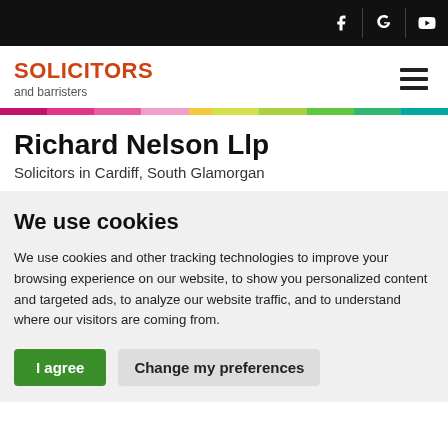SOLICITORS and barristers — Richard Nelson Llp
Richard Nelson Llp
Solicitors in Cardiff, South Glamorgan
We use cookies
We use cookies and other tracking technologies to improve your browsing experience on our website, to show you personalized content and targeted ads, to analyze our website traffic, and to understand where our visitors are coming from.
I agree   Change my preferences